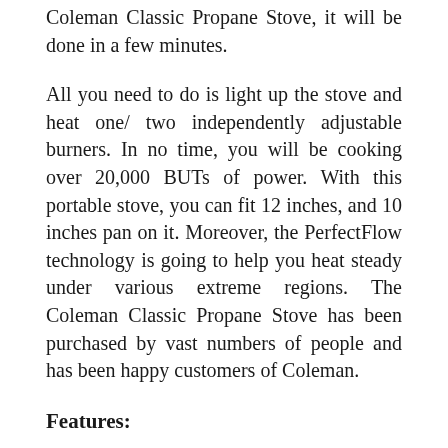Coleman Classic Propane Stove, it will be done in a few minutes.
All you need to do is light up the stove and heat one/ two independently adjustable burners. In no time, you will be cooking over 20,000 BUTs of power. With this portable stove, you can fit 12 inches, and 10 inches pan on it. Moreover, the PerfectFlow technology is going to help you heat steady under various extreme regions. The Coleman Classic Propane Stove has been purchased by vast numbers of people and has been happy customers of Coleman.
Features:
Various Technologies: The Coleman Classic